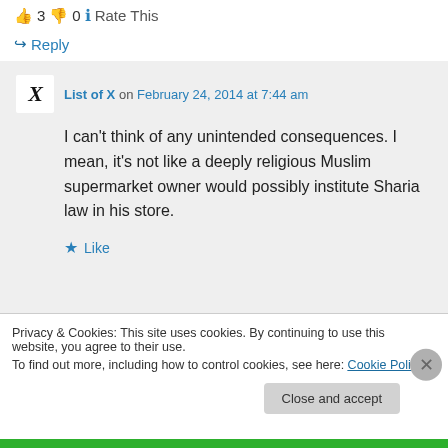👍 3 👎 0 ℹ Rate This
↪ Reply
List of X on February 24, 2014 at 7:44 am
I can't think of any unintended consequences. I mean, it's not like a deeply religious Muslim supermarket owner would possibly institute Sharia law in his store.
★ Like
Privacy & Cookies: This site uses cookies. By continuing to use this website, you agree to their use.
To find out more, including how to control cookies, see here: Cookie Policy
Close and accept